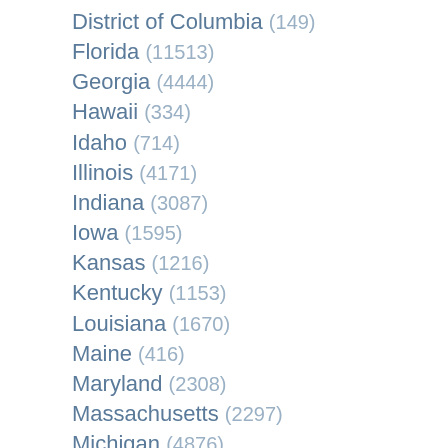District of Columbia (149)
Florida (11513)
Georgia (4444)
Hawaii (334)
Idaho (714)
Illinois (4171)
Indiana (3087)
Iowa (1595)
Kansas (1216)
Kentucky (1153)
Louisiana (1670)
Maine (416)
Maryland (2308)
Massachusetts (2297)
Michigan (4876)
Minnesota (2200)
Mississippi (1018)